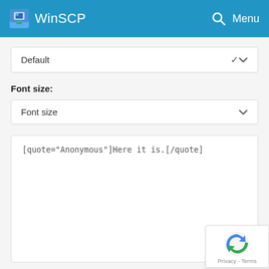WinSCP Menu
Default
Font size:
Font size
[quote="Anonymous"]Here it is.[/quote]